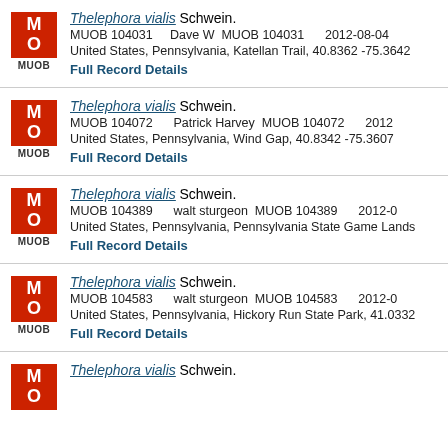Thelephora vialis Schwein. MUOB 104031 Dave W MUOB 104031 2012-08-04 United States, Pennsylvania, Katellan Trail, 40.8362 -75.3642 Full Record Details
Thelephora vialis Schwein. MUOB 104072 Patrick Harvey MUOB 104072 2012 United States, Pennsylvania, Wind Gap, 40.8342 -75.3607 Full Record Details
Thelephora vialis Schwein. MUOB 104389 walt sturgeon MUOB 104389 2012- United States, Pennsylvania, Pennsylvania State Game Lands Full Record Details
Thelephora vialis Schwein. MUOB 104583 walt sturgeon MUOB 104583 2012- United States, Pennsylvania, Hickory Run State Park, 41.0332 Full Record Details
Thelephora vialis Schwein. MUOB 100358 Full Record Details